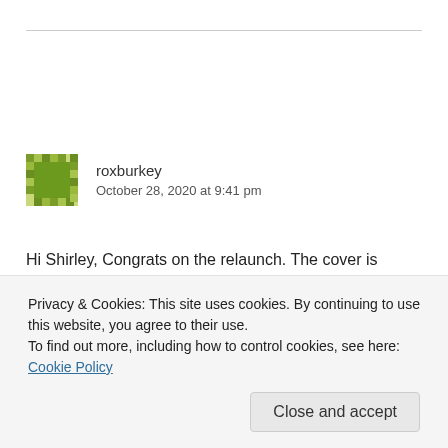[Figure (illustration): Gravatar avatar for roxburkey — a green square with decorative pixel/mosaic border pattern]
roxburkey
October 28, 2020 at 9:41 pm
Hi Shirley, Congrats on the relaunch. The cover is beautiful. So glad you are part of RRBC. I love the post.
Privacy & Cookies: This site uses cookies. By continuing to use this website, you agree to their use.
To find out more, including how to control cookies, see here: Cookie Policy
Close and accept
Shirley Harris-Slaughter